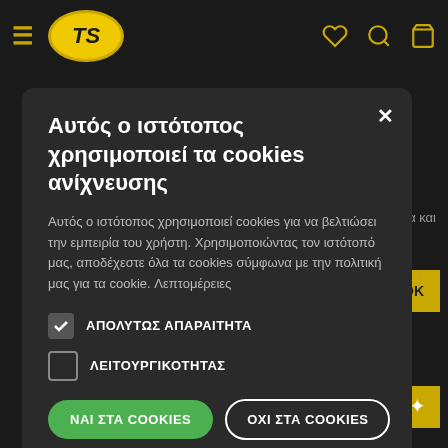[Figure (screenshot): Website navigation bar with hamburger menu, TS logo oval in yellow, and icons (heart, search, bag) in yellow on dark background]
Αυτός ο ιστότοπος χρησιμοποιεί τα cookies ανίχνευσης
Αυτός ο ιστότοπος χρησιμοποιεί cookies για να βελτιώσει την εμπειρία του χρήστη. Χρησιμοποιώντας τον ιστότοπό μας, αποδέχεστε όλα τα cookies σύμφωνα με την πολιτική μας για τα cookie. Λεπτομέρειες
ΑΠΟΛΥΤΩΣ ΑΠΑΡΑΙΤΗΤΑ
ΛΕΙΤΟΥΡΓΙΚΟΤΗΤΑΣ
ΝΑΙ ΣΤΑ COOKIES
ΟΧΙ ΣΤΑ COOKIES
ΔΕΙΞΕ ΛΕΠΤΟΜΕΡΕΙΕΣ